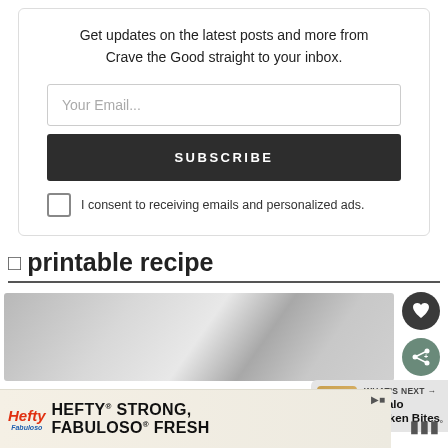Get updates on the latest posts and more from Crave the Good straight to your inbox.
[Figure (screenshot): Email input field with placeholder text 'Your Email...']
[Figure (screenshot): Dark subscribe button with text 'SUBSCRIBE']
I consent to receiving emails and personalized ads.
printable recipe
[Figure (photo): Partial view of a recipe image showing a marble or stone surface in greyscale]
[Figure (screenshot): What's Next banner showing Buffalo Chicken Bites with thumbnail image]
[Figure (screenshot): Hefty advertisement banner: HEFTY STRONG, FABULOSO FRESH]